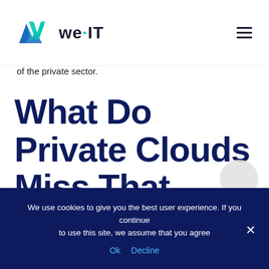we·IT [logo] [hamburger menu]
of the private sector.
What Do Private Clouds Miss That Public Clouds Don't?
We use cookies to give you the best user experience. If you continue to use this site, we assume that you agree
Ok   Decline